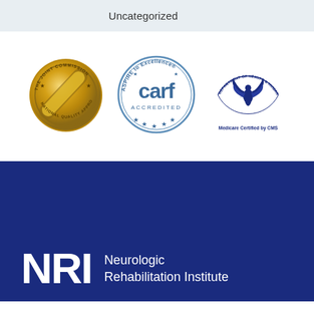Uncategorized
[Figure (logo): The Joint Commission National Quality Approval gold medal seal]
[Figure (logo): CARF Accredited - ASPIRE to Excellence seal with stars]
[Figure (logo): Department of Health & Human Services USA - Medicare Certified by CMS]
[Figure (logo): NRI - Neurologic Rehabilitation Institute logo on dark blue background]